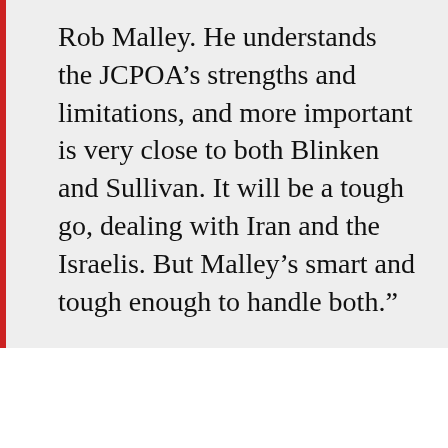Rob Malley. He understands the JCPOA's strengths and limitations, and more important is very close to both Blinken and Sullivan. It will be a tough go, dealing with Iran and the Israelis. But Malley's smart and tough enough to handle both.”